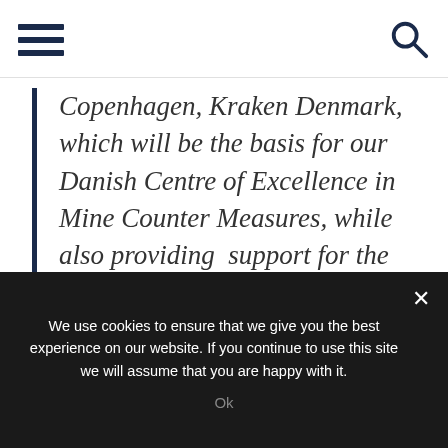[hamburger menu icon] [search icon]
Copenhagen, Kraken Denmark, which will be the basis for our Danish Centre of Excellence in Mine Counter Measures, while also providing  support for the systems and conducting critical research and development in MCM moving forward.”
We use cookies to ensure that we give you the best experience on our website. If you continue to use this site we will assume that you are happy with it.
Ok